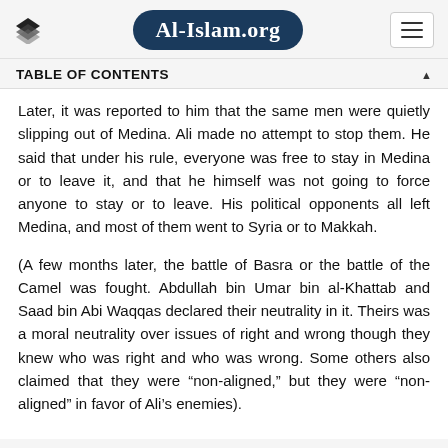Al-Islam.org
TABLE OF CONTENTS
Later, it was reported to him that the same men were quietly slipping out of Medina. Ali made no attempt to stop them. He said that under his rule, everyone was free to stay in Medina or to leave it, and that he himself was not going to force anyone to stay or to leave. His political opponents all left Medina, and most of them went to Syria or to Makkah.
(A few months later, the battle of Basra or the battle of the Camel was fought. Abdullah bin Umar bin al-Khattab and Saad bin Abi Waqqas declared their neutrality in it. Theirs was a moral neutrality over issues of right and wrong though they knew who was right and who was wrong. Some others also claimed that they were “non-aligned,” but they were “non-aligned” in favor of Ali’s enemies).